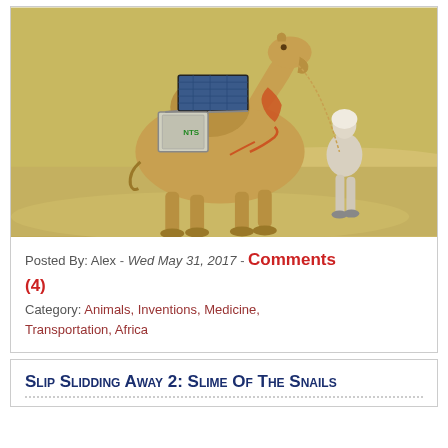[Figure (photo): A camel carrying a solar panel and equipment box on its back, being led by a person in traditional desert clothing through a sandy desert environment.]
Posted By: Alex - Wed May 31, 2017 - Comments (4)
Category: Animals, Inventions, Medicine, Transportation, Africa
Slip Slidding Away 2: Slime Of The Snails